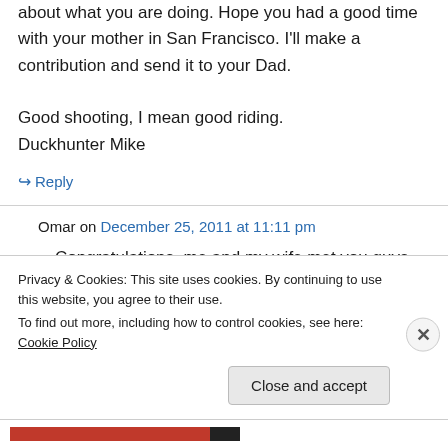about what you are doing. Hope you had a good time with your mother in San Francisco. I'll make a contribution and send it to your Dad.

Good shooting, I mean good riding.
Duckhunter Mike
↳ Reply
Omar on December 25, 2011 at 11:11 pm
Congratulations, me and my wife met you guys
Privacy & Cookies: This site uses cookies. By continuing to use this website, you agree to their use.
To find out more, including how to control cookies, see here: Cookie Policy
Close and accept